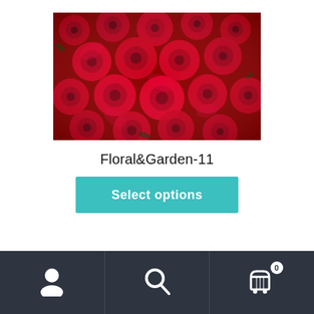[Figure (photo): A close-up photograph of many red roses packed tightly together, filling the entire frame.]
Floral&Garden-11
Select options
Navigation bar with user icon, search icon, and cart icon with badge 0